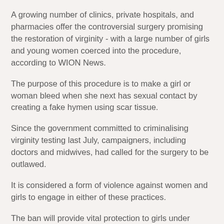A growing number of clinics, private hospitals, and pharmacies offer the controversial surgery promising the restoration of virginity - with a large number of girls and young women coerced into the procedure, according to WION News.
The purpose of this procedure is to make a girl or woman bleed when she next has sexual contact by creating a fake hymen using scar tissue.
Since the government committed to criminalising virginity testing last July, campaigners, including doctors and midwives, had called for the surgery to be outlawed.
It is considered a form of violence against women and girls to engage in either of these practices.
The ban will provide vital protection to girls under family pressure, according to one British survivor of "honour" based abuse who was harassed by her parents for months into having the surgery.